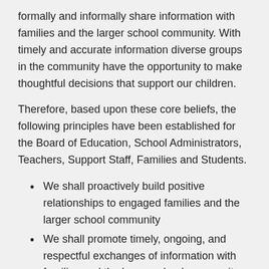formally and informally share information with families and the larger school community. With timely and accurate information diverse groups in the community have the opportunity to make thoughtful decisions that support our children.
Therefore, based upon these core beliefs, the following principles have been established for the Board of Education, School Administrators, Teachers, Support Staff, Families and Students.
We shall proactively build positive relationships to engaged families and the larger school community
We shall promote timely, ongoing, and respectful exchanges of information with families and the larger school community.
We shall address emerging issues with families and the community at large.